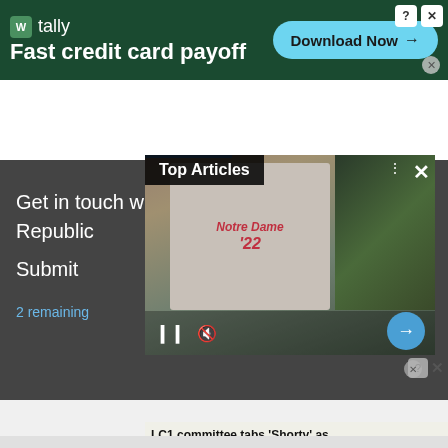[Figure (screenshot): Top dark green advertisement banner for Tally app - 'Fast credit card payoff' with Download Now button, question mark and X controls]
[Figure (screenshot): Dark gray content area with 'Get in touch w... Republic' text and Submit button, overlaid with a video player showing a jersey '22' with Top Articles banner, video controls (pause, mute, next arrow), and article preview bar reading 'LC1 committee tabs Shorty as']
[Figure (screenshot): Bottom white advertisement banner for Tally app - 'Fast credit card payoff' with Download Now button on dark green background, question mark and X controls]
[Figure (screenshot): Bottom gray strip]